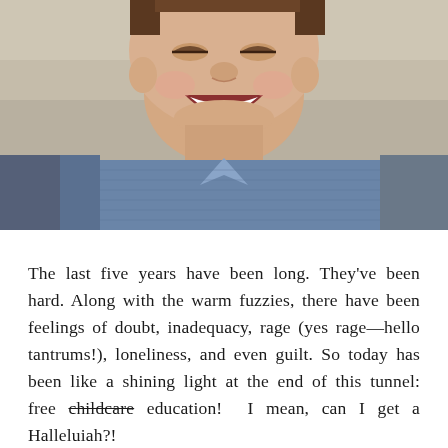[Figure (photo): Close-up photo of a smiling young boy with a gap-toothed smile, wearing a blue denim shirt. Background is blurred green/grey tones.]
The last five years have been long. They've been hard. Along with the warm fuzzies, there have been feelings of doubt, inadequacy, rage (yes rage—hello tantrums!), loneliness, and even guilt. So today has been like a shining light at the end of this tunnel: free childcare education!  I mean, can I get a Halleluiah?!